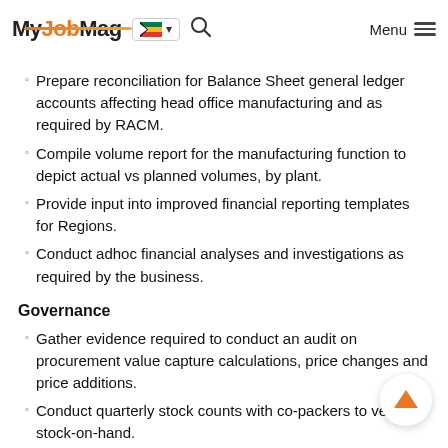MyJobMag [South Africa flag] Menu
Prepare reconciliation for Balance Sheet general ledger accounts affecting head office manufacturing and as required by RACM.
Compile volume report for the manufacturing function to depict actual vs planned volumes, by plant.
Provide input into improved financial reporting templates for Regions.
Conduct adhoc financial analyses and investigations as required by the business.
Governance
Gather evidence required to conduct an audit on procurement value capture calculations, price changes and price additions.
Conduct quarterly stock counts with co-packers to verify stock-on-hand.